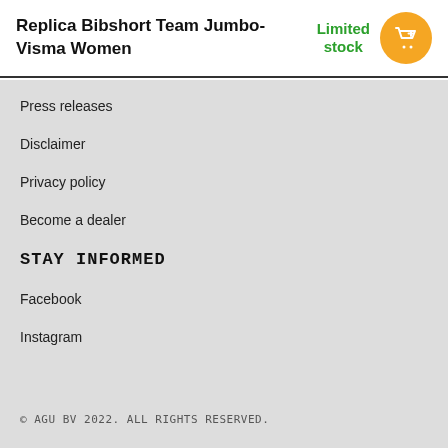Replica Bibshort Team Jumbo-Visma Women
Limited stock
Press releases
Disclaimer
Privacy policy
Become a dealer
STAY INFORMED
Facebook
Instagram
© AGU BV 2022. ALL RIGHTS RESERVED.